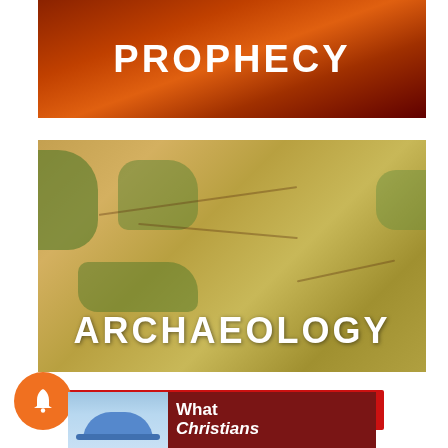[Figure (photo): Dark dramatic sky image with text overlay reading PROPHECY in bold white uppercase letters]
[Figure (photo): Ancient manuscript map (appears to be a medieval cartographic document) with green landmasses on parchment background, with text overlay reading ARCHAEOLOGY in bold white uppercase letters]
[Figure (illustration): Red banner button reading: The Interfaith Series | Crisis!]
[Figure (photo): Orange circular notification bell icon]
[Figure (photo): Partial card showing a person wearing a blue cap/hat on the left, and dark red background with white bold text reading: What Christians on the right (text is cut off)]